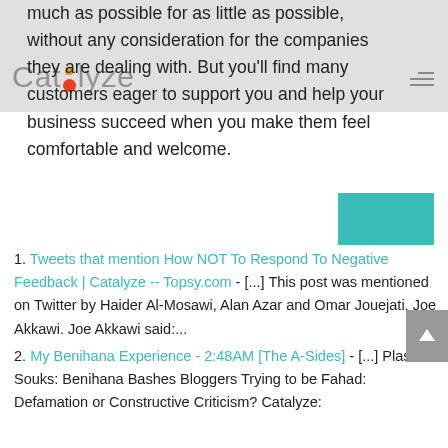Catalyze
much as possible for as little as possible, without any consideration for the companies they are dealing with. But you'll find many customers eager to support you and help your business succeed when you make them feel comfortable and welcome.
1. Tweets that mention How NOT To Respond To Negative Feedback | Catalyze -- Topsy.com - [...] This post was mentioned on Twitter by Haider Al-Mosawi, Alan Azar and Omar Jouejati, Joe Akkawi. Joe Akkawi said:...
2. My Benihana Experience - 2:48AM [The A-Sides] - [...] Plastic Souks: Benihana Bashes Bloggers Trying to be Fahad: Defamation or Constructive Criticism? Catalyze: